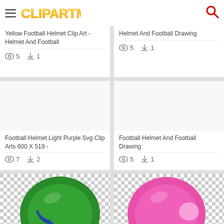ClipartMax
Yellow Football Helmet Clip Art - Helmet And Football
5 views, 1 download
Helmet And Football Drawing
5 views, 1 download
[Figure (illustration): Empty white/light grey image placeholder for Football Helmet Light Purple Svg Clip Arts 600 X 519]
Football Helmet Light Purple Svg Clip Arts 600 X 519 -
7 views, 2 downloads
[Figure (illustration): Empty white/light grey image placeholder for Football Helmet And Football Drawing]
Football Helmet And Football Drawing
5 views, 1 download
[Figure (illustration): Green football helmet on checkered (transparent) background]
[Figure (illustration): Pink football helmet on checkered (transparent) background]